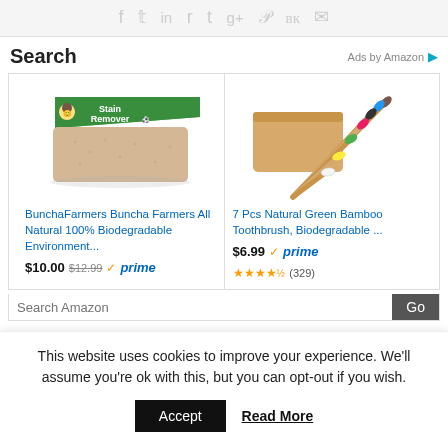[Figure (screenshot): Social sharing icons: Facebook, Twitter, LinkedIn, Reddit, Tumblr, Google+, Pinterest, VK, Email — all in light gray]
Search
Ads by Amazon
[Figure (photo): BunchaFarmers stain remover bar product image — a rectangular soap bar with green packaging label]
BunchaFarmers Buncha Farmers All Natural 100% Biodegradable Environment...
$10.00  $12.99  prime
[Figure (photo): 7 bamboo toothbrushes with colorful bristles fanned out from a wooden box]
7 Pcs Natural Green Bamboo Toothbrush, Biodegradable ...
$6.99  prime  ★★★★☆ (329)
Search Amazon
Go
This website uses cookies to improve your experience. We'll assume you're ok with this, but you can opt-out if you wish.
Accept
Read More